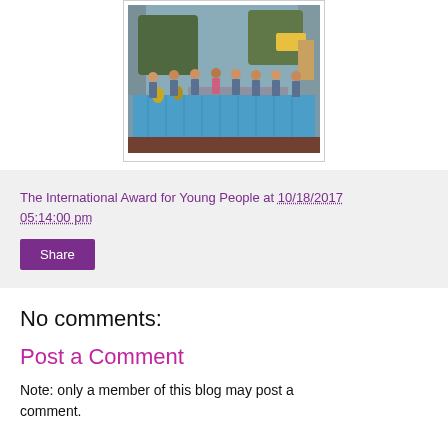[Figure (photo): Group photo of students in uniforms standing behind a long table covered with a blue tablecloth, outdoors near a building with pillars and greenery.]
The International Award for Young People at 10/18/2017 05:14:00 pm
Share
No comments:
Post a Comment
Note: only a member of this blog may post a comment.